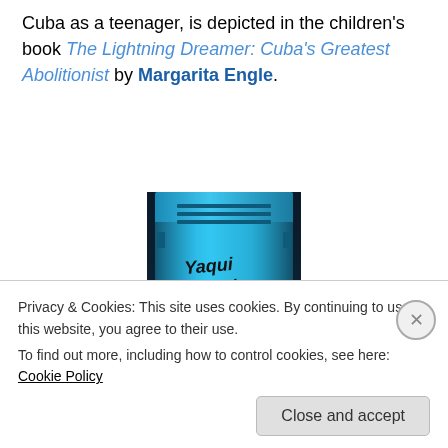Cuba as a teenager, is depicted in the children's book The Lightning Dreamer: Cuba's Greatest Abolitionist by Margarita Engle.
[Figure (photo): Book cover of 'Yaqui Delgado Wants to Kick Your Ass' by Meg Medina, showing a blue school locker with the title written in graffiti-style handwriting.]
March 26: In Meg Medina's young adult novel, Yaqui
Privacy & Cookies: This site uses cookies. By continuing to use this website, you agree to their use.
To find out more, including how to control cookies, see here: Cookie Policy